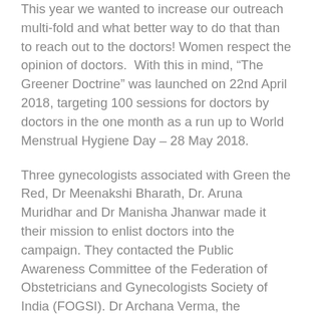This year we wanted to increase our outreach multi-fold and what better way to do that than to reach out to the doctors! Women respect the opinion of doctors.  With this in mind, “The Greener Doctrine” was launched on 22nd April 2018, targeting 100 sessions for doctors by doctors in the one month as a run up to World Menstrual Hygiene Day – 28 May 2018.
Three gynecologists associated with Green the Red, Dr Meenakshi Bharath, Dr. Aruna Muridhar and Dr Manisha Jhanwar made it their mission to enlist doctors into the campaign. They contacted the Public Awareness Committee of the Federation of Obstetricians and Gynecologists Society of India (FOGSI). Dr Archana Verma, the Chairperson of FOGSI-PAC and Dr. Jaideep Malholtra, President FOGSI, welcomed the idea of a